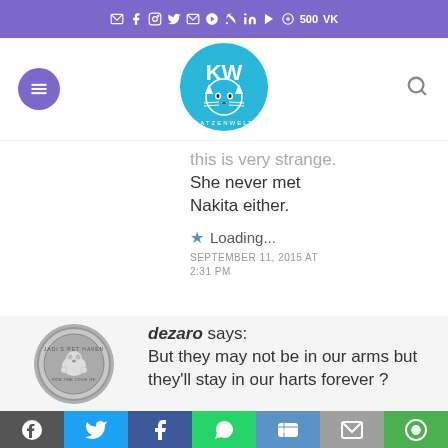Social media icon bar (email, facebook, instagram, twitter, email, pinterest, rss, linkedin, youtube, 500px, vk icons)
[Figure (logo): Katzenwelt blog logo - round logo with cat face illustration and text KW/Katzenwelt]
this is very strange. She never met Nakita either.
Loading...
SEPTEMBER 11, 2015 AT 2:31 PM
[Figure (photo): Round avatar image for user dezaro - Jadi's Pet Haven logo showing a hamster/small animal]
dezaro says: But they may not be in our arms but they'll stay in our harts forever ?
Share buttons: WordPress, Twitter, Facebook, WhatsApp, SMS, Mail, Other